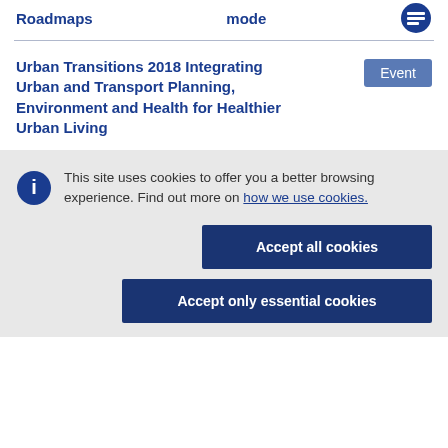Roadmaps   mode
Urban Transitions 2018 Integrating Urban and Transport Planning, Environment and Health for Healthier Urban Living
Event
This site uses cookies to offer you a better browsing experience. Find out more on how we use cookies.
Accept all cookies
Accept only essential cookies